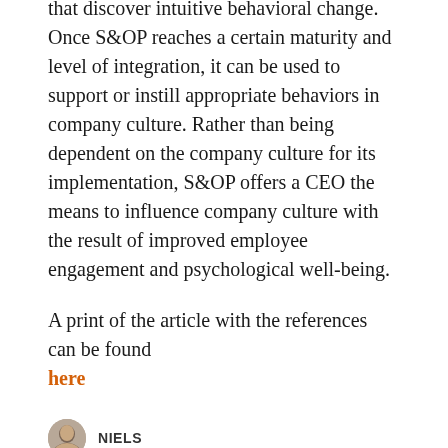that discover intuitive behavioral change. Once S&OP reaches a certain maturity and level of integration, it can be used to support or instill appropriate behaviors in company culture. Rather than being dependent on the company culture for its implementation, S&OP offers a CEO the means to influence company culture with the result of improved employee engagement and psychological well-being.
A print of the article with the references can be found here
NIELS
APRIL 12, 2017
# GROWTH MINDSET, # MENTAL TOUGHNESS, # S&OP BEHAVIOURS, # S&OP CULTURE, # S&OP LEADERSHIP, # S&OP TRENDS, # SUPLPY CHAIN TRENDS
SHARE: